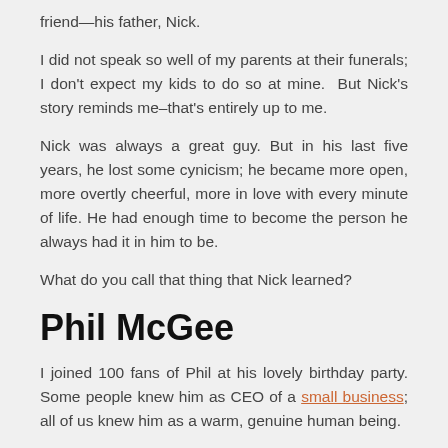friend—his father, Nick.
I did not speak so well of my parents at their funerals; I don't expect my kids to do so at mine.  But Nick's story reminds me–that's entirely up to me.
Nick was always a great guy. But in his last five years, he lost some cynicism; he became more open, more overtly cheerful, more in love with every minute of life. He had enough time to become the person he always had it in him to be.
What do you call that thing that Nick learned?
Phil McGee
I joined 100 fans of Phil at his lovely birthday party. Some people knew him as CEO of a small business; all of us knew him as a warm, genuine human being.